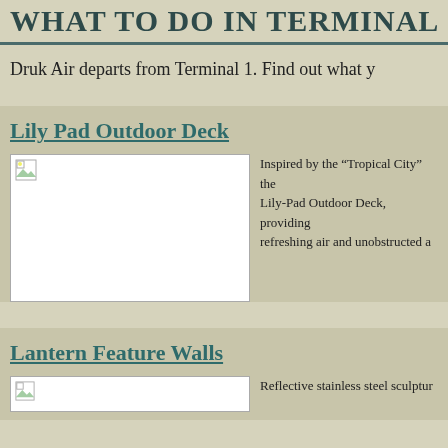WHAT TO DO IN TERMINAL 1
Druk Air departs from Terminal 1. Find out what y…
Lily Pad Outdoor Deck
[Figure (photo): Photo placeholder for Lily Pad Outdoor Deck]
Inspired by the “Tropical City” the Lily-Pad Outdoor Deck, providing refreshing air and unobstructed a…
Lantern Feature Walls
[Figure (photo): Photo placeholder for Lantern Feature Walls]
Reflective stainless steel sculptur…